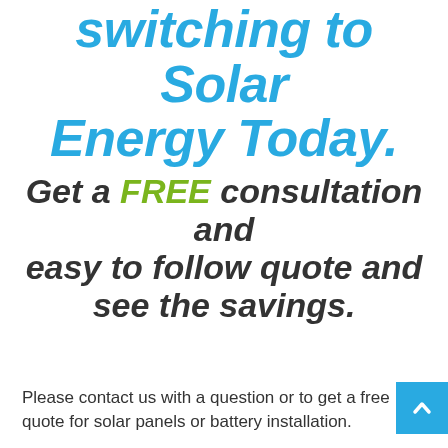switching to Solar Energy Today.
Get a FREE consultation and easy to follow quote and see the savings.
Please contact us with a question or to get a free quote for solar panels or battery installation.